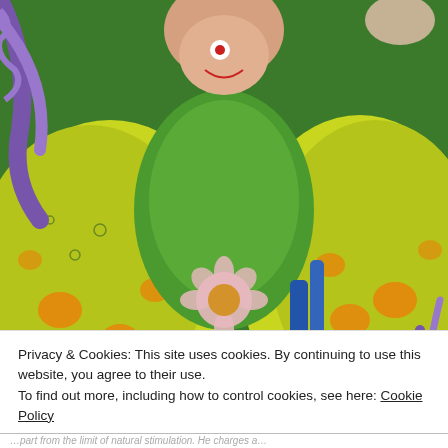[Figure (illustration): Colorful psychedelic comic-style illustration showing fantastical mushroom-like forms in yellow-green, orange spots, purple tendrils, pink flowers, and stylized creatures. In the lower center, partially visible text reads 'UTE FOR SPATIAL STUDIES'.]
Privacy & Cookies: This site uses cookies. By continuing to use this website, you agree to their use.
To find out more, including how to control cookies, see here: Cookie Policy
Close and accept
…part from the limit of natural stimulation. He charges a…